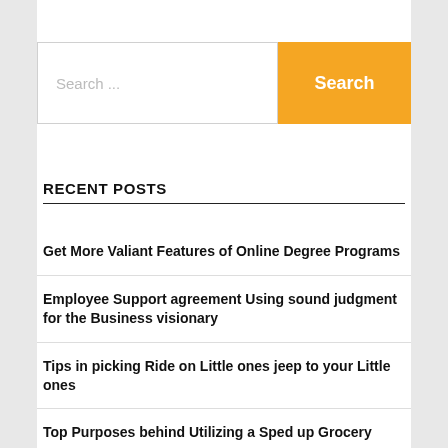Search ...
Search
RECENT POSTS
Get More Valiant Features of Online Degree Programs
Employee Support agreement Using sound judgment for the Business visionary
Tips in picking Ride on Little ones jeep to your Little ones
Top Purposes behind Utilizing a Sped up Grocery